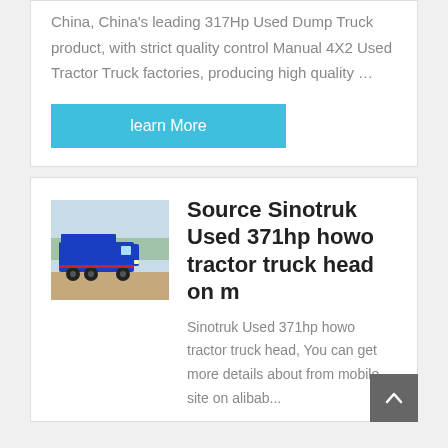China, China's leading 317Hp Used Dump Truck product, with strict quality control Manual 4X2 Used Tractor Truck factories, producing high quality …
learn More
Source Sinotruk Used 371hp howo tractor truck head on m
[Figure (photo): Blue Sinotruk dump truck parked on dirt ground]
Sinotruk Used 371hp howo tractor truck head, You can get more details about from mobile site on alibab...